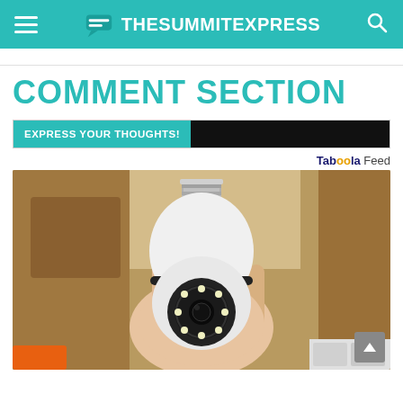TheSummitExpress
COMMENT SECTION
EXPRESS YOUR THOUGHTS!
Taboola Feed
[Figure (photo): A hand holding a white bulb-shaped security camera with a circular lens and LED ring, with a screw-in bulb base at the top, photographed against a wooden shelf background.]